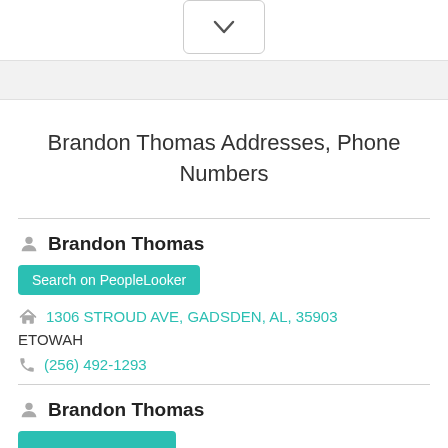[Figure (other): Chevron/dropdown button with downward arrow icon]
Brandon Thomas Addresses, Phone Numbers
Brandon Thomas
Search on PeopleLooker
1306 STROUD AVE, GADSDEN, AL, 35903
ETOWAH
(256) 492-1293
Brandon Thomas